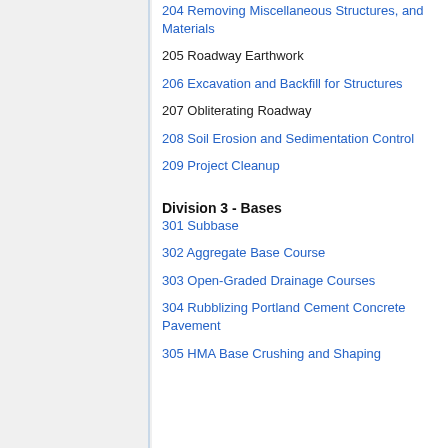204 Removing Miscellaneous Structures, and Materials
205 Roadway Earthwork
206 Excavation and Backfill for Structures
207 Obliterating Roadway
208 Soil Erosion and Sedimentation Control
209 Project Cleanup
Division 3 - Bases
301 Subbase
302 Aggregate Base Course
303 Open-Graded Drainage Courses
304 Rubblizing Portland Cement Concrete Pavement
305 HMA Base Crushing and Shaping